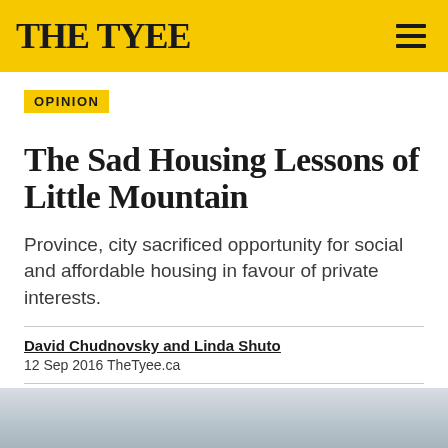THE TYEE
OPINION
The Sad Housing Lessons of Little Mountain
Province, city sacrificed opportunity for social and affordable housing in favour of private interests.
David Chudnovsky and Linda Shuto
12 Sep 2016 TheTyee.ca
[Figure (infographic): Social sharing icons row: Facebook, Twitter, Flipboard, Email, yellow heart/donate button, comment bubble with count 26]
[Figure (photo): Partial landscape/sky photo at bottom of page, muted gray-blue tones]